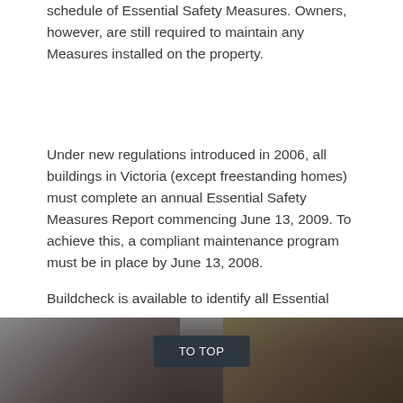schedule of Essential Safety Measures. Owners, however, are still required to maintain any Measures installed on the property.
Under new regulations introduced in 2006, all buildings in Victoria (except freestanding homes) must complete an annual Essential Safety Measures Report commencing June 13, 2009. To achieve this, a compliant maintenance program must be in place by June 13, 2008.
Buildcheck is available to identify all Essential Safety Measures in a building, commence a compliant maintenance program and complete an Essential Safety Measures Report.
[Figure (photo): A dark atmospheric photo showing a blurred face and a golden/amber object, with a 'TO TOP' button overlaid in the center]